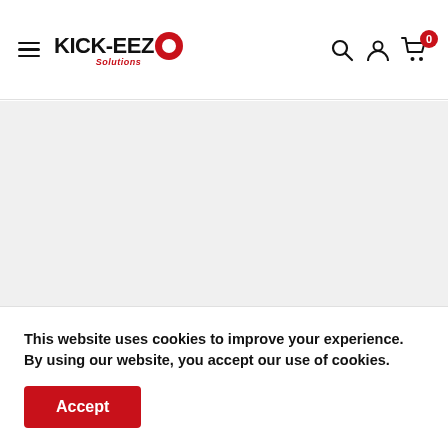KICK-EEZO header navigation with hamburger menu, logo, search, account, and cart icons
[Figure (screenshot): Gray placeholder content area 1]
Follow Us
[Figure (illustration): Three social media circular icon placeholders (gray circles)]
[Figure (screenshot): Gray placeholder content area 2]
This website uses cookies to improve your experience. By using our website, you accept our use of cookies.
Accept